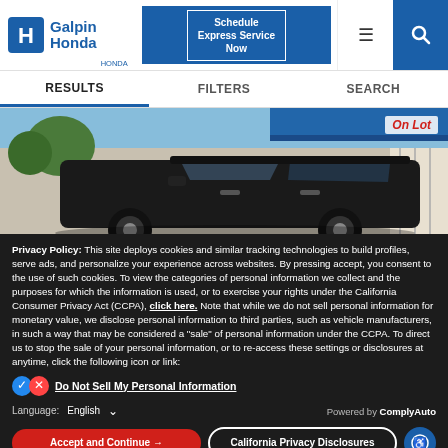[Figure (logo): Galpin Honda logo with Honda H emblem and blue text reading 'Galpin Honda']
[Figure (screenshot): Navigation bar with Schedule Express Service Now button, hamburger menu, and search icon]
[Figure (photo): Photograph of a black Honda SUV in a dealership parking lot with blue awning visible, 'On Lot' badge in red text top right]
Privacy Policy: This site deploys cookies and similar tracking technologies to build profiles, serve ads, and personalize your experience across websites. By pressing accept, you consent to the use of such cookies. To view the categories of personal information we collect and the purposes for which the information is used, or to exercise your rights under the California Consumer Privacy Act (CCPA), click here. Note that while we do not sell personal information for monetary value, we disclose personal information to third parties, such as vehicle manufacturers, in such a way that may be considered a "sale" of personal information under the CCPA. To direct us to stop the sale of your personal information, or to re-access these settings or disclosures at anytime, click the following icon or link:
Do Not Sell My Personal Information
Language: English
Powered by ComplyAuto
Accept and Continue → | California Privacy Disclosures